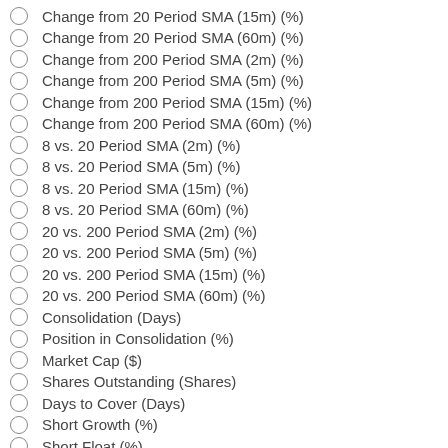Change from 20 Period SMA (15m) (%)
Change from 20 Period SMA (60m) (%)
Change from 200 Period SMA (2m) (%)
Change from 200 Period SMA (5m) (%)
Change from 200 Period SMA (15m) (%)
Change from 200 Period SMA (60m) (%)
8 vs. 20 Period SMA (2m) (%)
8 vs. 20 Period SMA (5m) (%)
8 vs. 20 Period SMA (15m) (%)
8 vs. 20 Period SMA (60m) (%)
20 vs. 200 Period SMA (2m) (%)
20 vs. 200 Period SMA (5m) (%)
20 vs. 200 Period SMA (15m) (%)
20 vs. 200 Period SMA (60m) (%)
Consolidation (Days)
Position in Consolidation (%)
Market Cap ($)
Shares Outstanding (Shares)
Days to Cover (Days)
Short Growth (%)
Short Float (%)